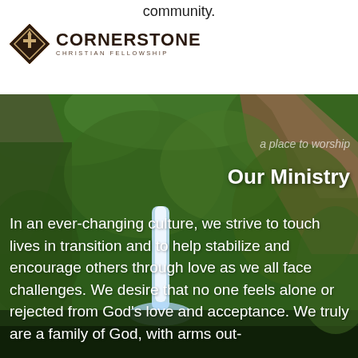community.
[Figure (logo): Cornerstone Christian Fellowship logo with diamond-shaped emblem and organization name]
[Figure (photo): Lush green forest waterfall nature landscape photo]
a place to worship
Our Ministry
In an ever-changing culture, we strive to touch lives in transition and to help stabilize and encourage others through love as we all face challenges. We desire that no one feels alone or rejected from God’s love and acceptance. We truly are a family of God, with arms out-